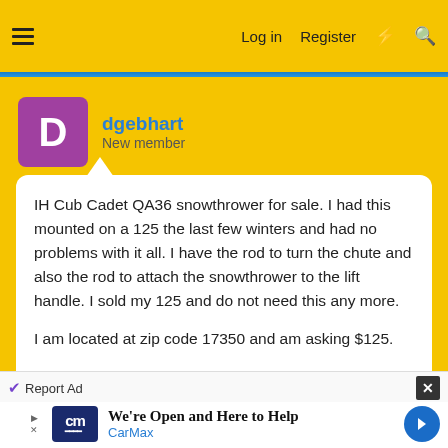Log in  Register
dgebhart
New member
IH Cub Cadet QA36 snowthrower for sale. I had this mounted on a 125 the last few winters and had no problems with it all. I have the rod to turn the chute and also the rod to attach the snowthrower to the lift handle. I sold my 125 and do not need this any more.

I am located at zip code 17350 and am asking $125.

If interested, please send an e-mail to the address in my profile.
Report Ad
[Figure (screenshot): CarMax advertisement banner: 'We're Open and Here to Help' with CarMax logo and direction arrow icon]